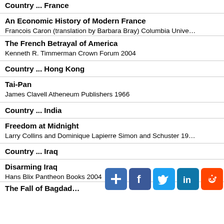Country ... France
An Economic History of Modern France
Francois Caron (translation by Barbara Bray) Columbia Unive…
The French Betrayal of America
Kenneth R. Timmerman Crown Forum 2004
Country ... Hong Kong
Tai-Pan
James Clavell Atheneum Publishers 1966
Country ... India
Freedom at Midnight
Larry Collins and Dominique Lapierre Simon and Schuster 19…
Country ... Iraq
Disarming Iraq
Hans Blix Pantheon Books 2004
The Fall of Bagdad…